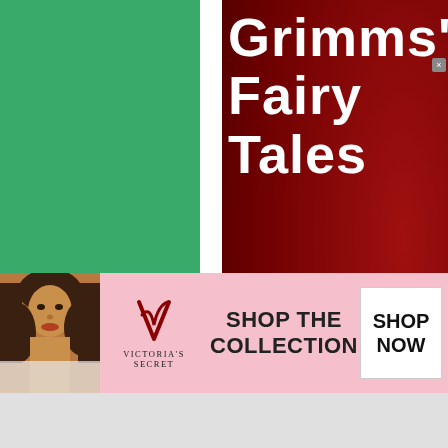[Figure (illustration): Book cover for Grimms' Fairy Tales showing a dark red background with bold white text reading 'Grimms' Fairy Tales' and below 'Sweethe Roland'. Left side has a solid green panel with a white vertical strip separating it from the red cover area.]
infolinks
[Figure (advertisement): Victoria's Secret advertisement banner with pink background showing a woman's photo on the left, Victoria's Secret VS logo and name in center-left, 'SHOP THE COLLECTION' text in center, and a white 'SHOP NOW' button on the right.]